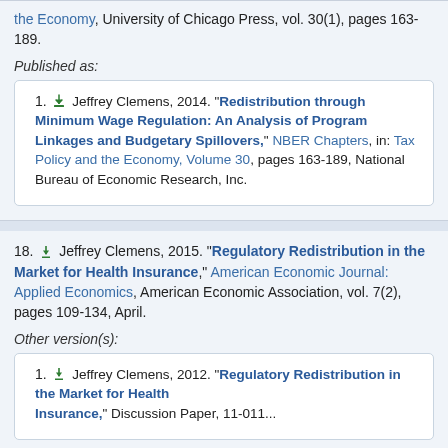the Economy, University of Chicago Press, vol. 30(1), pages 163-189.
Published as:
1. Jeffrey Clemens, 2014. "Redistribution through Minimum Wage Regulation: An Analysis of Program Linkages and Budgetary Spillovers," NBER Chapters, in: Tax Policy and the Economy, Volume 30, pages 163-189, National Bureau of Economic Research, Inc.
18. Jeffrey Clemens, 2015. "Regulatory Redistribution in the Market for Health Insurance," American Economic Journal: Applied Economics, American Economic Association, vol. 7(2), pages 109-134, April.
Other version(s):
1. Jeffrey Clemens, 2012. "Regulatory Redistribution in the Market for Health Insurance," Discussion Paper, 11-011...